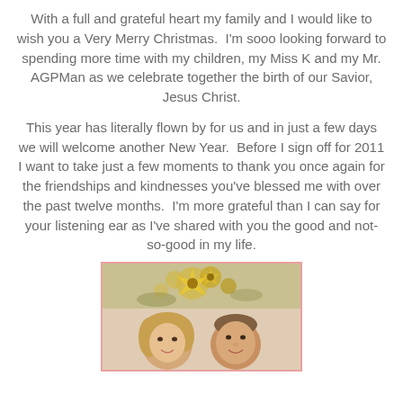With a full and grateful heart my family and I would like to wish you a Very Merry Christmas.  I'm sooo looking forward to spending more time with my children, my Miss K and my Mr. AGPMan as we celebrate together the birth of our Savior, Jesus Christ.
This year has literally flown by for us and in just a few days we will welcome another New Year.  Before I sign off for 2011 I want to take just a few moments to thank you once again for the friendships and kindnesses you've blessed me with over the past twelve months.  I'm more grateful than I can say for your listening ear as I've shared with you the good and not-so-good in my life.
[Figure (photo): A photo of two people (a couple) in front of a Christmas tree/decorations with gold ornaments and flowers, framed with a pink/red border.]